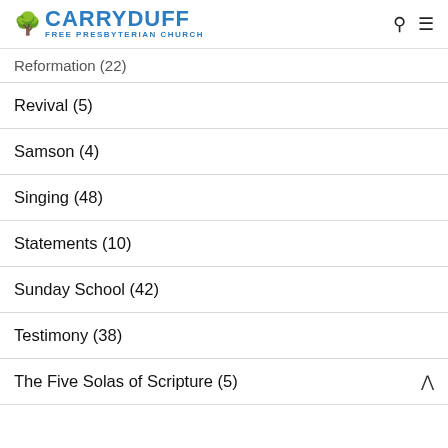CARRYDUFF FREE PRESBYTERIAN CHURCH
Reformation (22)
Revival (5)
Samson (4)
Singing (48)
Statements (10)
Sunday School (42)
Testimony (38)
The Five Solas of Scripture (5)